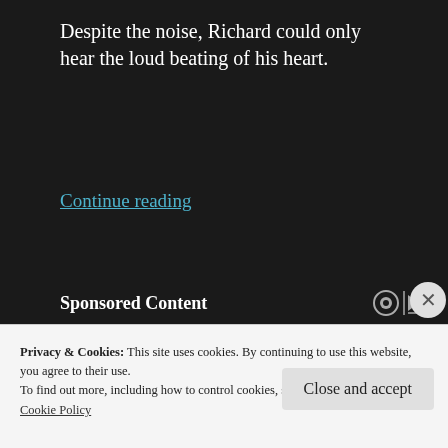Despite the noise, Richard could only hear the loud beating of his heart.
Continue reading
Sponsored Content
[Figure (illustration): Colorful music-themed illustration with watercolor splashes in blue, green, and purple with white musical notes and staff lines on a guitar neck]
Privacy & Cookies: This site uses cookies. By continuing to use this website, you agree to their use.
To find out more, including how to control cookies, see here:
Cookie Policy
Close and accept